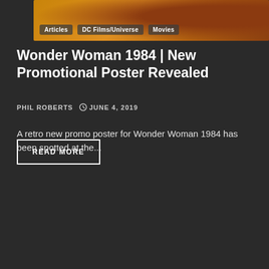[Figure (photo): Top banner image with warm orange/gold tones, showing DC film imagery with navigation tags: Articles, DC Films/Universe, Movies]
Wonder Woman 1984 | New Promotional Poster Revealed
PHIL ROBERTS  ○ JUNE 4, 2019
A retro new promo poster for Wonder Woman 1984 has been spotted at the...
READ MORE
[Figure (photo): Wonder Woman movie still showing actors in front of Wonder Woman logo backdrop, with '2 min read' badge and scroll-to-top button]